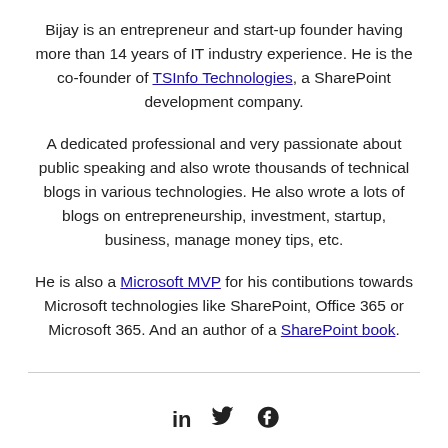Bijay is an entrepreneur and start-up founder having more than 14 years of IT industry experience. He is the co-founder of TSInfo Technologies, a SharePoint development company.
A dedicated professional and very passionate about public speaking and also wrote thousands of technical blogs in various technologies. He also wrote a lots of blogs on entrepreneurship, investment, startup, business, manage money tips, etc.
He is also a Microsoft MVP for his contibutions towards Microsoft technologies like SharePoint, Office 365 or Microsoft 365. And an author of a SharePoint book.
[Figure (other): Social media icons: LinkedIn, Twitter, Facebook]